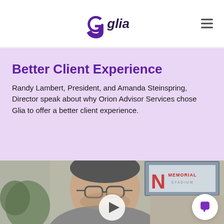Glia
Better Client Experience
Randy Lambert, President, and Amanda Steinspring, Director speak about why Orion Advisor Services chose Glia to offer a better client experience.
[Figure (photo): Video thumbnail showing a man with glasses in an office setting with a Memorial Stadium sign in the background, with a play button overlay]